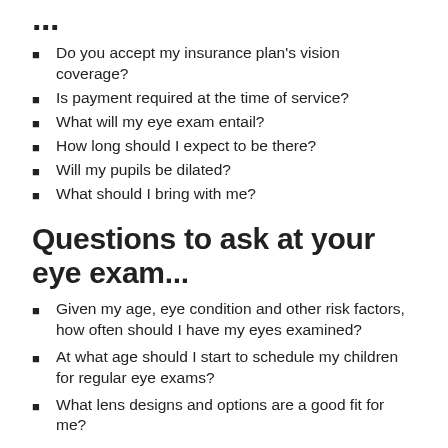...
Do you accept my insurance plan's vision coverage?
Is payment required at the time of service?
What will my eye exam entail?
How long should I expect to be there?
Will my pupils be dilated?
What should I bring with me?
Questions to ask at your eye exam...
Given my age, eye condition and other risk factors, how often should I have my eyes examined?
At what age should I start to schedule my children for regular eye exams?
What lens designs and options are a good fit for me?